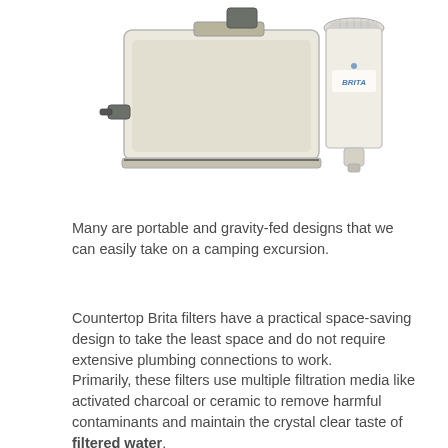[Figure (photo): Photo of a Brita countertop water filter system with a transparent rectangular reservoir and a white Brita filter cartridge beside it.]
Many are portable and gravity-fed designs that we can easily take on a camping excursion.
Countertop Brita filters have a practical space-saving design to take the least space and do not require extensive plumbing connections to work.
Primarily, these filters use multiple filtration media like activated charcoal or ceramic to remove harmful contaminants and maintain the crystal clear taste of filtered water.